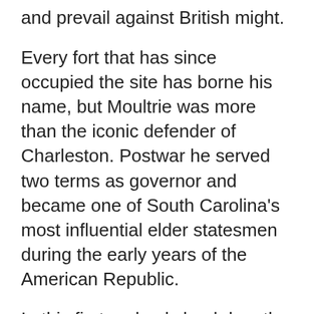and prevail against British might.
Every fort that has since occupied the site has borne his name, but Moultrie was more than the iconic defender of Charleston. Postwar he served two terms as governor and became one of South Carolina's most influential elder statesmen during the early years of the American Republic.
In this first and only book-length biography of William Moultrie, C. L. Bragg combines a scholarly survey of lowcountry South Carolina culture, the American Revolution, and the early political history of the state and the United States. Bragg also brings to light primary sources that are